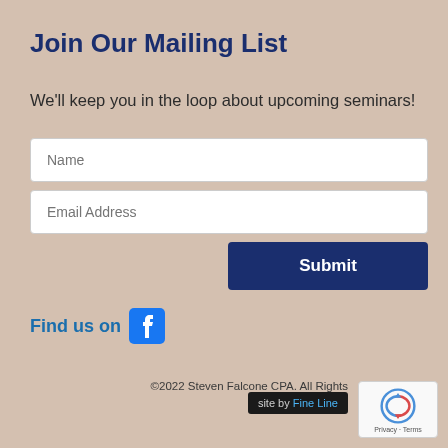Join Our Mailing List
We'll keep you in the loop about upcoming seminars!
[Figure (other): Web form with Name input field, Email Address input field, and Submit button]
Find us on [Facebook icon]
©2022 Steven Falcone CPA. All Rights
site by Fine Line
[Figure (other): reCAPTCHA badge with Privacy and Terms text]